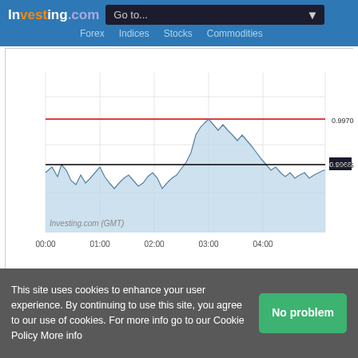Investing.com  Go to...  Forex  Indices  Stocks  Commodities
[Figure (continuous-plot): EUR/USD intraday price chart from 00:00 to 04:00 GMT showing price fluctuations around 0.9968, with a red resistance line near 0.9970 and a black horizontal line at 0.9968 (current price). Price area chart with light blue fill. Y-axis labels: 0.9970, 0.9968, 0.9965. X-axis labels: 00:00, 01:00, 02:00, 03:00, 04:00. Watermark: Investing.com (GMT)]
| Pair | Price | Change | Change% |
| --- | --- | --- | --- |
| EUR/USD | 0.9968 | -0.0006 | -0.07% |
| GBP/USD | 1.1823 | -0.0006 | -0.05% |
| USD/JPY | 136.71 | +0.20 | +0.15% |
| EUR/GBP | 0.8432 | +0.0005 | +0.06% |
| EUR/JPY | 136.27 | +0.14 | +0.10% |
| USD/CNY | 6.8550 | +0.0058 | +0.08% |
This site uses cookies to enhance your user experience. By continuing to use this site, you agree to our use of cookies. For more info go to our Cookie Policy More info